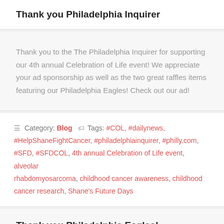Thank you Philadelphia Inquirer
Thank you to the The Philadelphia Inquirer for supporting our 4th annual Celebration of Life event! We appreciate your ad sponsorship as well as the two great raffles items featuring our Philadelphia Eagles! Check out our ad!
Category: Blog  Tags: #COL, #dailynews, #HelpShaneFightCancer, #philadelphiainquirer, #philly.com, #SFD, #SFDCOL, 4th annual Celebration of Life event, alveolar rhabdomyosarcoma, childhood cancer awareness, childhood cancer research, Shane's Future Days
Thank you Philadelphia Eagles!